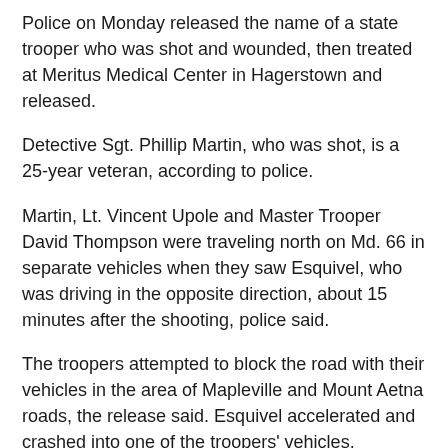Police on Monday released the name of a state trooper who was shot and wounded, then treated at Meritus Medical Center in Hagerstown and released.
Detective Sgt. Phillip Martin, who was shot, is a 25-year veteran, according to police.
Martin, Lt. Vincent Upole and Master Trooper David Thompson were traveling north on Md. 66 in separate vehicles when they saw Esquivel, who was driving in the opposite direction, about 15 minutes after the shooting, police said.
The troopers attempted to block the road with their vehicles in the area of Mapleville and Mount Aetna roads, the release said. Esquivel accelerated and crashed into one of the troopers' vehicles.
The release said Esquivel fired at the troopers through